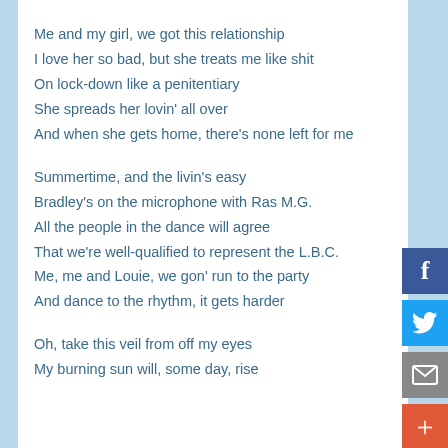Me and my girl, we got this relationship
I love her so bad, but she treats me like shit
On lock-down like a penitentiary
She spreads her lovin' all over
And when she gets home, there's none left for me
Summertime, and the livin's easy
Bradley's on the microphone with Ras M.G.
All the people in the dance will agree
That we're well-qualified to represent the L.B.C.
Me, me and Louie, we gon' run to the party
And dance to the rhythm, it gets harder
Oh, take this veil from off my eyes
My burning sun will, some day, rise